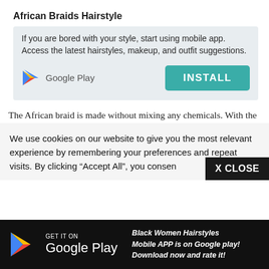African Braids Hairstyle
If you are bored with your style, start using mobile app. Access the latest hairstyles, makeup, and outfit suggestions.
[Figure (logo): Google Play logo triangle icon with text 'Google Play']
[Figure (other): INSTALL button in teal/green color]
The African braid is made without mixing any chemicals. With the
We use cookies on our website to give you the most relevant experience by remembering your preferences and repeat visits. By clicking “Accept All”, you consen
[Figure (other): X CLOSE button in black]
[Figure (logo): GET IT ON Google Play logo on black background with promotional text: Black Women Hairstyles Mobile APP is on Google play! Download now and rate it!]